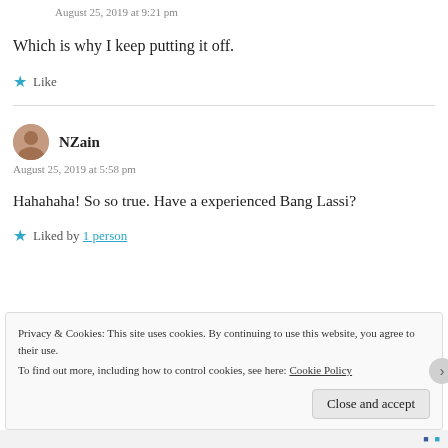August 25, 2019 at 9:21 pm
Which is why I keep putting it off.
Like
NZain
August 25, 2019 at 5:58 pm
Hahahaha! So so true. Have a experienced Bang Lassi?
Liked by 1 person
Privacy & Cookies: This site uses cookies. By continuing to use this website, you agree to their use. To find out more, including how to control cookies, see here: Cookie Policy